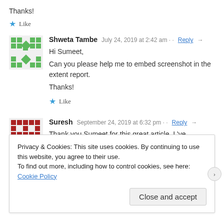Thanks!
★ Like
Shweta Tambe   July 24, 2019 at 2:42 am · · Reply →
Hi Sumeet,

Can you please help me to embed screenshot in the extent report.
Thanks!
★ Like
Suresh   September 24, 2019 at 6:32 pm · · Reply →
Thank you Sumeet for this great article. I 've successfully registered
Privacy & Cookies: This site uses cookies. By continuing to use this website, you agree to their use.
To find out more, including how to control cookies, see here: Cookie Policy
Close and accept